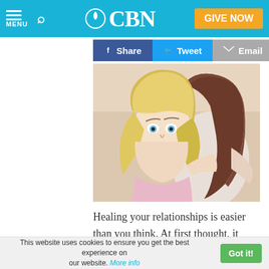CBN — MENU | Search | GIVE NOW
[Figure (other): Social share buttons: Facebook Share, Twitter Tweet, Email]
[Figure (photo): Two women hugging, one blonde facing camera looking sad, one brunette with back turned]
Healing your relationships is easier than you think. At first thought, it may seem impossible. After all, so much of our
This website uses cookies to ensure you get the best experience on our website. More info